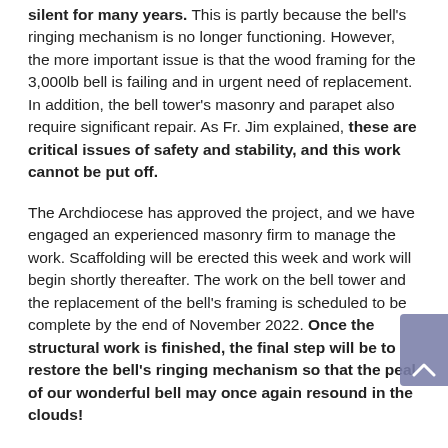silent for many years. This is partly because the bell's ringing mechanism is no longer functioning. However, the more important issue is that the wood framing for the 3,000lb bell is failing and in urgent need of replacement. In addition, the bell tower's masonry and parapet also require significant repair. As Fr. Jim explained, these are critical issues of safety and stability, and this work cannot be put off.
The Archdiocese has approved the project, and we have engaged an experienced masonry firm to manage the work. Scaffolding will be erected this week and work will begin shortly thereafter. The work on the bell tower and the replacement of the bell's framing is scheduled to be complete by the end of November 2022. Once the structural work is finished, the final step will be to restore the bell's ringing mechanism so that the peal of our wonderful bell may once again resound in the clouds!
This is a large undertaking, and represents a significant investment in St. Paul Parish. The total cost is budgeted to be $487,200, and the Parish has been approved for a short term loan from the Archdiocese to cover up to seventy-five percent of the budget. While we are fortunate to have additional income from the leasing of the school building...